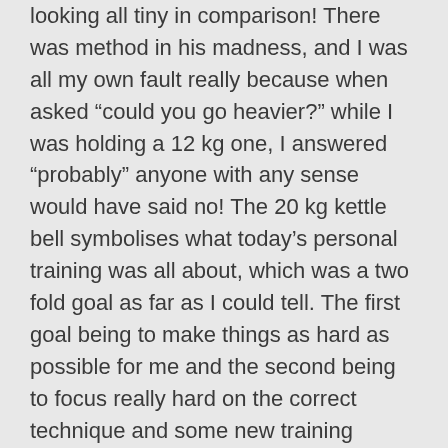looking all tiny in comparison! There was method in his madness, and I was all my own fault really because when asked “could you go heavier?” while I was holding a 12 kg one, I answered “probably” anyone with any sense would have said no! The 20 kg kettle bell symbolises what today’s personal training was all about, which was a two fold goal as far as I could tell. The first goal being to make things as hard as possible for me and the second being to focus really hard on the correct technique and some new training methods. Apparently I was being used as a guinea pig for some training techniques for training athletes the Matt learned on a course he went on last week. I quite like this, it makes my training sessions interesting.
We started with a warm up, which was not too scary, and went on to mobility exercises, to warm up joints and such like. There was an element of multitasking